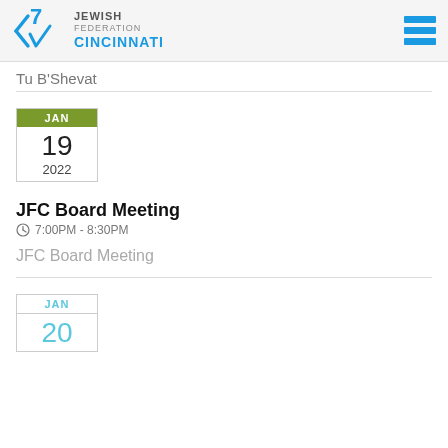Jewish Federation Cincinnati
Tu B'Shevat
JAN 19 2022
JFC Board Meeting
7:00PM - 8:30PM
JFC Board Meeting
JAN 20